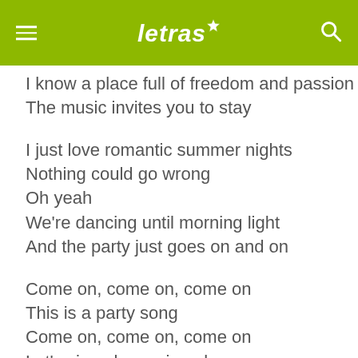letras
I know a place full of freedom and passion
The music invites you to stay
I just love romantic summer nights
Nothing could go wrong
Oh yeah
We're dancing until morning light
And the party just goes on and on
Come on, come on, come on
This is a party song
Come on, come on, come on
Let's sing along, sing along